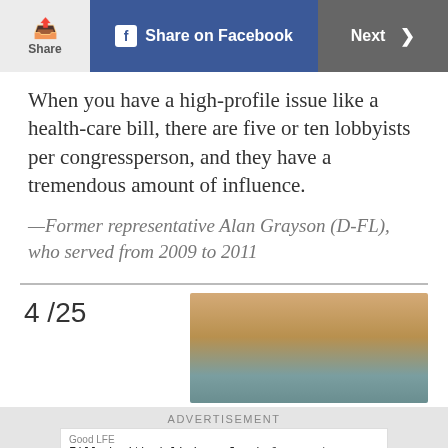Share | Share on Facebook | Next >
When you have a high-profile issue like a health-care bill, there are five or ten lobbyists per congressperson, and they have a tremendous amount of influence.
—Former representative Alan Grayson (D-FL), who served from 2009 to 2011
4 / 25
[Figure (photo): Photo of a person with blonde hair against a teal/blue background]
ADVERTISEMENT
Good LFE
Filled with delicious fresh & easy-to-execute reci
gut health & microbiome balance.